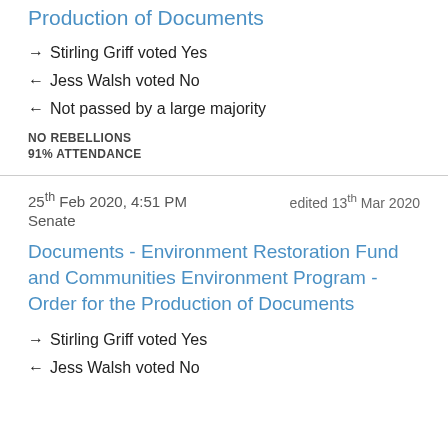Production of Documents
→ Stirling Griff voted Yes
← Jess Walsh voted No
← Not passed by a large majority
NO REBELLIONS
91% ATTENDANCE
25th Feb 2020, 4:51 PM     edited 13th Mar 2020
Senate
Documents - Environment Restoration Fund and Communities Environment Program - Order for the Production of Documents
→ Stirling Griff voted Yes
← Jess Walsh voted No